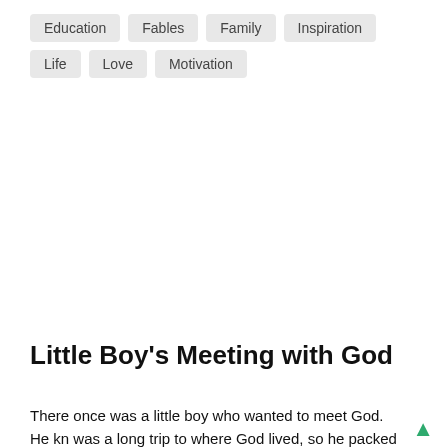Education
Fables
Family
Inspiration
Life
Love
Motivation
Little Boy's Meeting with God
There once was a little boy who wanted to meet God. He kn was a long trip to where God lived, so he packed his suitcase with Twinkies and a six-pack of root beer and started his journ